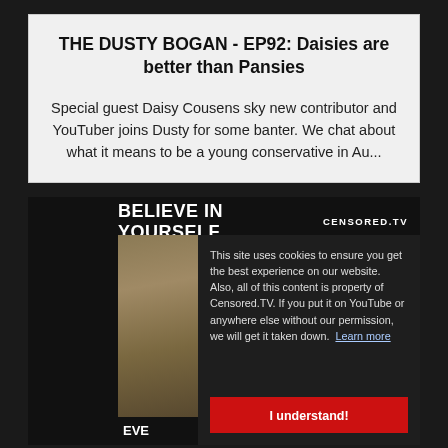THE DUSTY BOGAN - EP92: Daisies are better than Pansies
Special guest Daisy Cousens sky new contributor and YouTuber joins Dusty for some banter. We chat about what it means to be a young conservative in Au...
[Figure (screenshot): Censored.TV website screenshot showing a video thumbnail with 'BELIEVE IN YOURSELF' text and a cookie consent overlay. The overlay reads: 'This site uses cookies to ensure you get the best experience on our website. Also, all of this content is property of Censored.TV. If you put it on YouTube or anywhere else without our permission, we will get it taken down. Learn more' with an 'I understand!' button.]
THE DUSTY BOGAN - EP91: Boon into the bush...